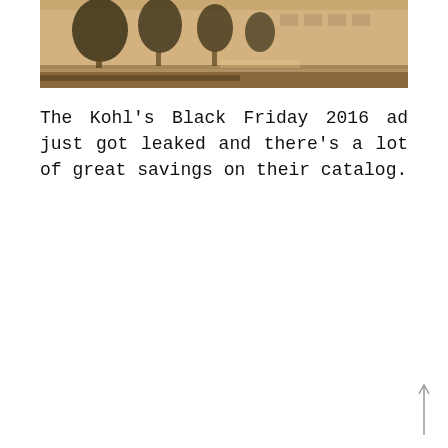[Figure (photo): Exterior photo of a building with trees and warm golden light, showing a parking lot or plaza in the foreground.]
The Kohl's Black Friday 2016 ad just got leaked and there's a lot of great savings on their catalog.